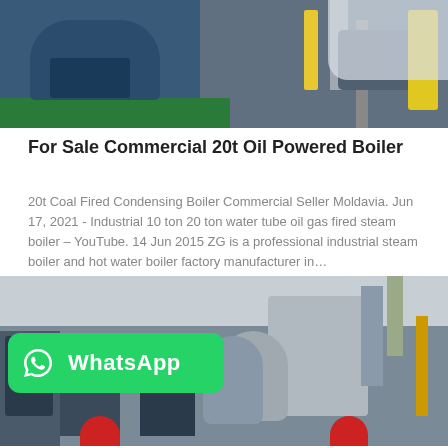[Figure (photo): Industrial boiler equipment outdoors — large blue and grey boilers with green bases, yellow piping, visible in an industrial yard.]
For Sale Commercial 20t Oil Powered Boiler
20t Coal Fired Condensing Boiler Commercial Seller Moldavia. Jun 17, 2021 - Industrial 10 ton 20 ton water tube oil gas fired steam boiler – YouTube. 14 Jun 2015 ZG is a professional industrial steam boiler and hot water boiler factory manufacturer in…
[Figure (photo): Indoor industrial boiler room with large cylindrical boilers, pipes, and machinery. A WhatsApp badge overlay is visible in the lower-left corner.]